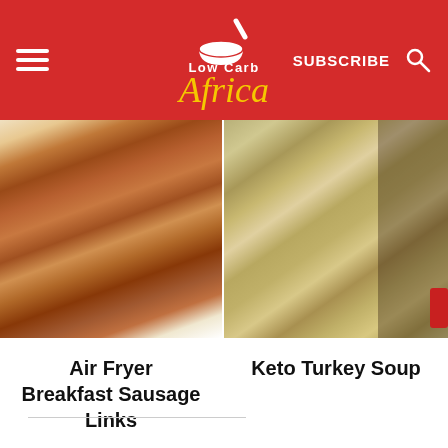Low Carb Africa — SUBSCRIBE
[Figure (photo): Photo of breakfast sausage links on a white plate, browned and glistening]
[Figure (photo): Photo of keto turkey soup in a dark skillet pan with creamy sauce and herbs]
Air Fryer Breakfast Sausage Links
Keto Turkey Soup